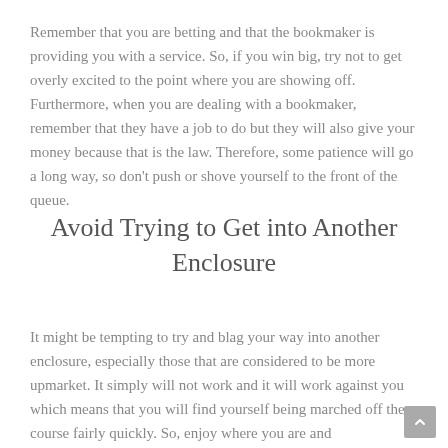Remember that you are betting and that the bookmaker is providing you with a service. So, if you win big, try not to get overly excited to the point where you are showing off. Furthermore, when you are dealing with a bookmaker, remember that they have a job to do but they will also give your money because that is the law. Therefore, some patience will go a long way, so don't push or shove yourself to the front of the queue.
Avoid Trying to Get into Another Enclosure
It might be tempting to try and blag your way into another enclosure, especially those that are considered to be more upmarket. It simply will not work and it will work against you which means that you will find yourself being marched off the course fairly quickly. So, enjoy where you are and